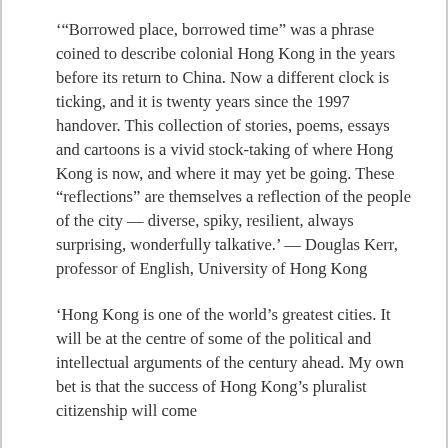'"Borrowed place, borrowed time" was a phrase coined to describe colonial Hong Kong in the years before its return to China. Now a different clock is ticking, and it is twenty years since the 1997 handover. This collection of stories, poems, essays and cartoons is a vivid stock-taking of where Hong Kong is now, and where it may yet be going. These “reflections” are themselves a reflection of the people of the city — diverse, spiky, resilient, always surprising, wonderfully talkative.' — Douglas Kerr, professor of English, University of Hong Kong
‘Hong Kong is one of the world’s greatest cities. It will be at the centre of some of the political and intellectual arguments of the century ahead. My own bet is that the success of Hong Kong’s pluralist citizenship will come